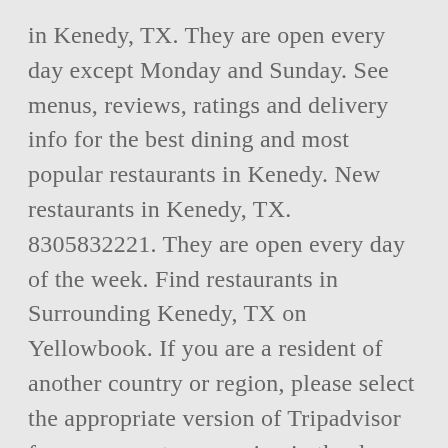in Kenedy, TX. They are open every day except Monday and Sunday. See menus, reviews, ratings and delivery info for the best dining and most popular restaurants in Kenedy. New restaurants in Kenedy, TX. 8305832221. They are open every day of the week. Find restaurants in Surrounding Kenedy, TX on Yellowbook. If you are a resident of another country or region, please select the appropriate version of Tripadvisor for your country or region in the drop-down menu. ... This restaurant serves grilled chicken sandwich, new york dog, sonic burger, jr. chili cheeseburger, chili cheese tots, supersonic cheeseburger, and tots. This restaurant serves